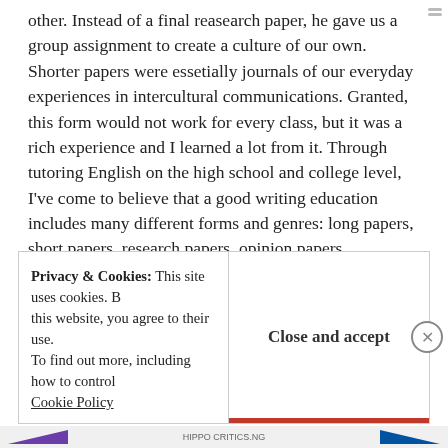other. Instead of a final reasearch paper, he gave us a group assignment to create a culture of our own. Shorter papers were essetially journals of our everyday experiences in intercultural communications. Granted, this form would not work for every class, but it was a rich experience and I learned a lot from it. Through tutoring English on the high school and college level, I've come to believe that a good writing education includes many different forms and genres: long papers, short papers, research papers, opinion papers, presentations, literary analysis, etc, to prepare students for the varying demands of the professional world.
Privacy & Cookies: This site uses cookies. By continuing to use this website, you agree to their use. To find out more, including how to control cookies, see here: Cookie Policy
Close and accept